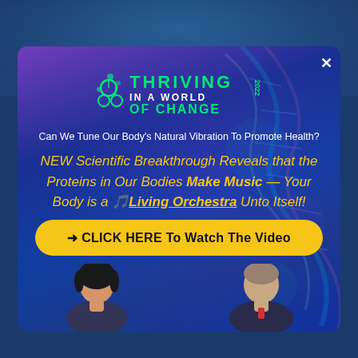[Figure (screenshot): Modal popup overlay on a dark blue website background. Contains the 'Thriving in a World of Change 2022' logo, a subtitle question, a yellow headline about proteins in the body making music, a CTA button, and two portrait photos at the bottom.]
THRIVING IN A WORLD OF CHANGE 2022
Can We Tune Our Body's Natural Vibration To Promote Health?
NEW Scientific Breakthrough Reveals that the Proteins in Our Bodies Make Music — Your Body is a 🎵Living Orchestra Unto Itself!
→ CLICK HERE To Watch The Video